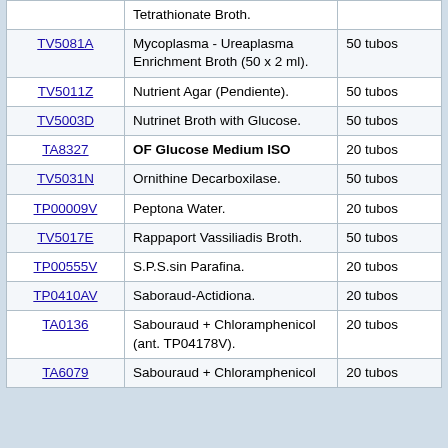| Code | Description | Quantity |
| --- | --- | --- |
|  | Tetrathionate Broth. |  |
| TV5081A | Mycoplasma - Ureaplasma Enrichment Broth (50 x 2 ml). | 50 tubos |
| TV5011Z | Nutrient Agar (Pendiente). | 50 tubos |
| TV5003D | Nutrinet Broth with Glucose. | 50 tubos |
| TA8327 | OF Glucose Medium ISO | 20 tubos |
| TV5031N | Ornithine Decarboxilase. | 50 tubos |
| TP00009V | Peptona Water. | 20 tubos |
| TV5017E | Rappaport Vassiliadis Broth. | 50 tubos |
| TP00555V | S.P.S.sin Parafina. | 20 tubos |
| TP0410AV | Saboraud-Actidiona. | 20 tubos |
| TA0136 | Sabouraud + Chloramphenicol (ant. TP04178V). | 20 tubos |
| TA6079 | Sabouraud + Chloramphenicol... | 20 tubos |